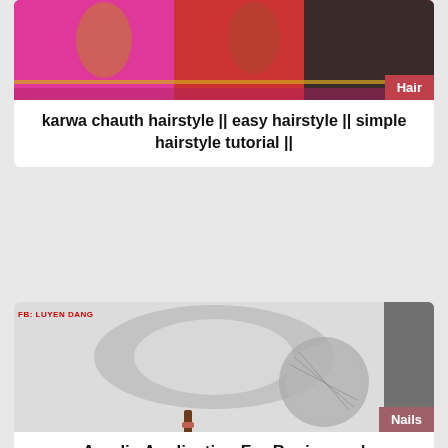[Figure (photo): Photo of women in colorful Indian sarees with jewelry, showing hairstyle. Tag label 'Hair' in red at bottom right.]
karwa chauth hairstyle || easy hairstyle || simple hairstyle tutorial ||
[Figure (photo): Close-up photo of hands working on acrylic nails with a nail drill/fan device visible. Watermark 'FB: LUYEN DANG' at top left. Tag label 'Nails' at bottom right.]
Acrylic Application For Beginners |